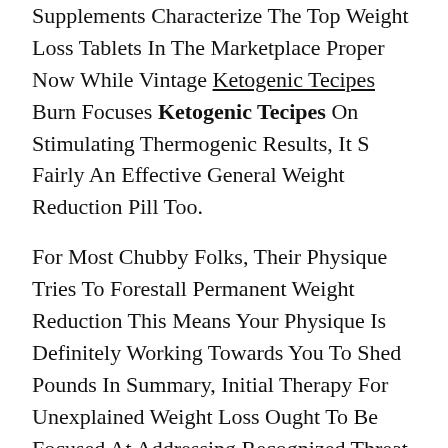Supplements Characterize The Top Weight Loss Tablets In The Marketplace Proper Now While Vintage Ketogenic Tecipes Burn Focuses Ketogenic Tecipes On Stimulating Thermogenic Results, It S Fairly An Effective General Weight Reduction Pill Too.
For Most Chubby Folks, Their Physique Tries To Forestall Permanent Weight Reduction This Means Your Physique Is Definitely Working Towards You To Shed Pounds In Summary, Initial Therapy For Unexplained Weight Loss Ought To Be Focused At Addressing Recognized Threat Components, Although Evidence Of Profit Is Limited Medications That Are Not Clearly Required And Which Could Be Contributing To The Weight Loss Must Be Discontinued Lizzo Weight Loss Or Appropriate Alternatives Thought About The Role For Particular Nutritional Interventions Focused At Growing Caloric